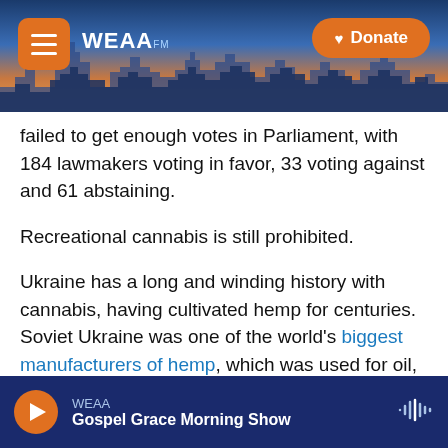[Figure (screenshot): WEAA radio station website header with city skyline background, hamburger menu button on left, WEAA logo, and orange Donate button on right]
failed to get enough votes in Parliament, with 184 lawmakers voting in favor, 33 voting against and 61 abstaining.
Recreational cannabis is still prohibited.
Ukraine has a long and winding history with cannabis, having cultivated hemp for centuries. Soviet Ukraine was one of the world's biggest manufacturers of hemp, which was used for oil, cloth and food.
But the country began to stigmatize cannabis and the people using it over time, as Lana Braslavskaia
WEAA  Gospel Grace Morning Show